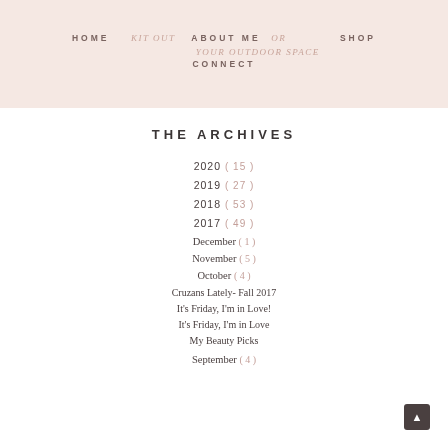HOME   KIT OUT ABOUT ME OR YOUR OUTDOOR SPACE   SHOP   CONNECT
THE ARCHIVES
2020 ( 15 )
2019 ( 27 )
2018 ( 53 )
2017 ( 49 )
December ( 1 )
November ( 5 )
October ( 4 )
Cruzans Lately- Fall 2017
It's Friday, I'm in Love!
It's Friday, I'm in Love
My Beauty Picks
September ( 4 )